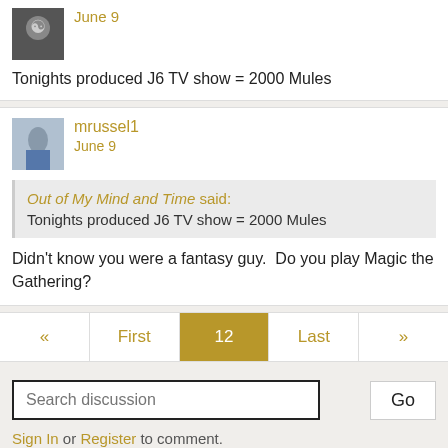Tonights produced J6 TV show = 2000 Mules
mrussel1
June 9
Out of My Mind and Time said: Tonights produced J6 TV show = 2000 Mules
Didn't know you were a fantasy guy.  Do you play Magic the Gathering?
« First 12 Last »
Search discussion
Go
Sign In or Register to comment.